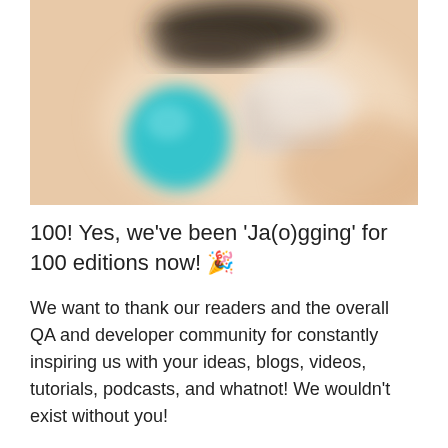[Figure (photo): Blurred/soft-focus photo with peach/beige background and a teal/turquoise round object in the lower-left area, with a dark blurred shape at the top center.]
100! Yes, we've been 'Ja(o)gging' for 100 editions now! 🎉
We want to thank our readers and the overall QA and developer community for constantly inspiring us with your ideas, blogs, videos, tutorials, podcasts, and whatnot! We wouldn't exist without you!
Going forward, you can expect us to experiment a